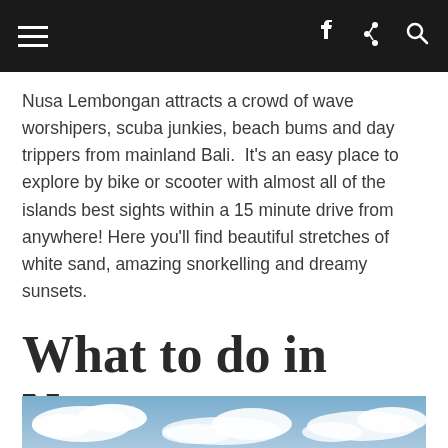Navigation bar with hamburger menu, share icon, and search icon
Nusa Lembongan attracts a crowd of wave worshipers, scuba junkies, beach bums and day trippers from mainland Bali.  It's an easy place to explore by bike or scooter with almost all of the islands best sights within a 15 minute drive from anywhere! Here you'll find beautiful stretches of white sand, amazing snorkelling and dreamy sunsets.
What to do in Nusa Lembongan?
[Figure (photo): Sky with white clouds on blue background, partial view at bottom of page]